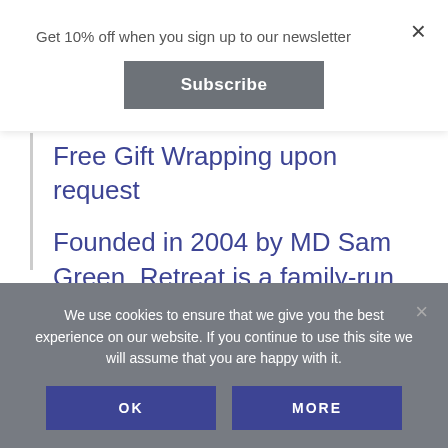Get 10% off when you sign up to our newsletter
Subscribe
×
Free Gift Wrapping upon request
Founded in 2004 by MD Sam Green, Retreat is a family-run business, with family values at its core – even the very concept of the company was
We use cookies to ensure that we give you the best experience on our website. If you continue to use this site we will assume that you are happy with it.
OK
MORE